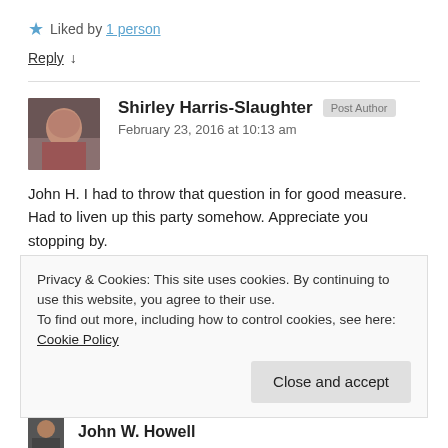★ Liked by 1 person
Reply ↓
Shirley Harris-Slaughter  Post Author
February 23, 2016 at 10:13 am
John H. I had to throw that question in for good measure. Had to liven up this party somehow. Appreciate you stopping by.
Privacy & Cookies: This site uses cookies. By continuing to use this website, you agree to their use.
To find out more, including how to control cookies, see here: Cookie Policy
Close and accept
John W. Howell